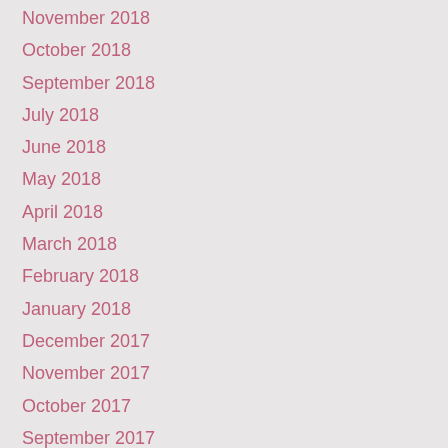November 2018
October 2018
September 2018
July 2018
June 2018
May 2018
April 2018
March 2018
February 2018
January 2018
December 2017
November 2017
October 2017
September 2017
August 2017
July 2017
June 2017
May 2017
April 2017